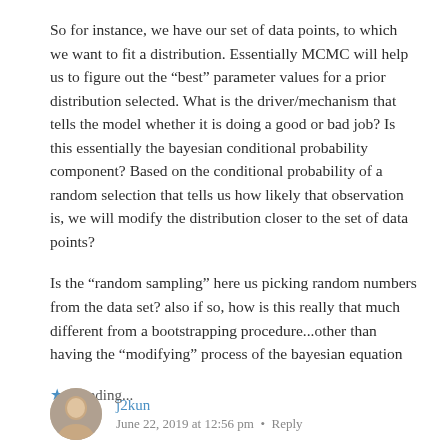So for instance, we have our set of data points, to which we want to fit a distribution. Essentially MCMC will help us to figure out the “best” parameter values for a prior distribution selected. What is the driver/mechanism that tells the model whether it is doing a good or bad job? Is this essentially the bayesian conditional probability component? Based on the conditional probability of a random selection that tells us how likely that observation is, we will modify the distribution closer to the set of data points?
Is the “random sampling” here us picking random numbers from the data set? also if so, how is this really that much different from a bootstrapping procedure...other than having the “modifying” process of the bayesian equation
Loading...
j2kun • June 22, 2019 at 12:56 pm • Reply